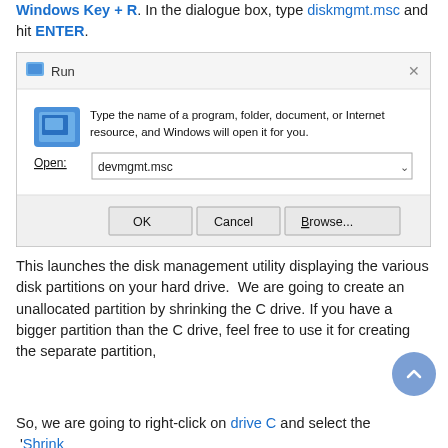Windows Key + R. In the dialogue box, type diskmgmt.msc and hit ENTER.
[Figure (screenshot): Windows Run dialog box showing 'devmgmt.msc' typed in the Open field, with OK, Cancel, and Browse buttons.]
This launches the disk management utility displaying the various disk partitions on your hard drive. We are going to create an unallocated partition by shrinking the C drive. If you have a bigger partition than the C drive, feel free to use it for creating the separate partition,
So, we are going to right-click on drive C and select the 'Shrink Volume' option as shown.